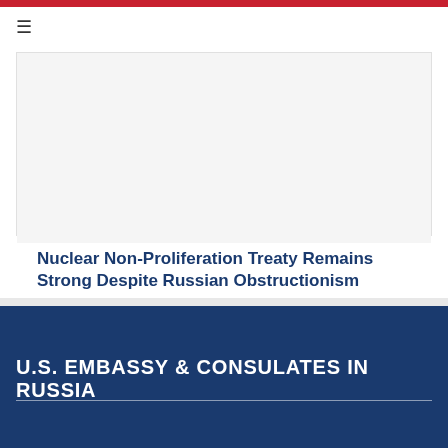Nuclear Non-Proliferation Treaty Remains Strong Despite Russian Obstructionism
U.S. EMBASSY & CONSULATES IN RUSSIA